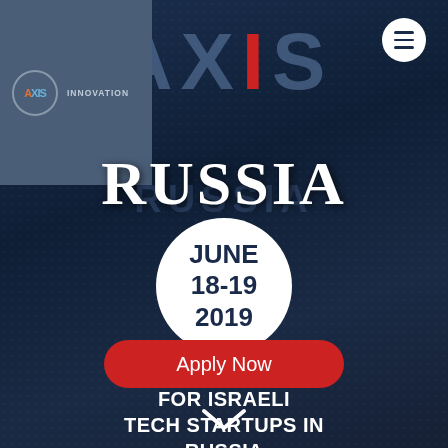[Figure (screenshot): Axis Innovation website screenshot showing Axis Russia roadshow event page with dark blue background, logo, AXIS and RUSSIA text, date circle, tagline, and Apply Now button]
AXIS RUSSIA
JUNE 18-19 2019
THE ONLY ROADSHOW FOR ISRAELI TECH STARTUPS IN RUSSIA
Apply Now